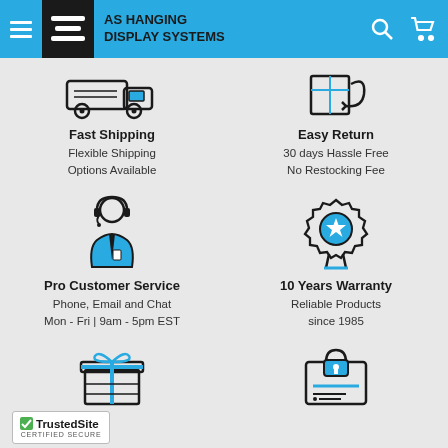AS HANGING DISPLAY SYSTEMS
[Figure (illustration): Fast Shipping icon - delivery truck outline]
Fast Shipping
Flexible Shipping Options Available
[Figure (illustration): Easy Return icon - return package outline]
Easy Return
30 days Hassle Free No Restocking Fee
[Figure (illustration): Pro Customer Service icon - customer support agent with headset]
Pro Customer Service
Phone, Email and Chat Mon - Fri | 9am - 5pm EST
[Figure (illustration): 10 Years Warranty icon - award badge with star]
10 Years Warranty
Reliable Products since 1985
[Figure (illustration): Gift box icon with bow]
[Figure (illustration): Secure payment / lock icon]
[Figure (logo): TrustedSite Certified Secure badge]